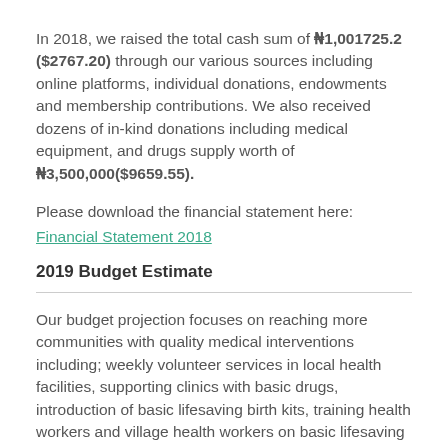In 2018, we raised the total cash sum of ₦1,001725.2 ($2767.20) through our various sources including online platforms, individual donations, endowments and membership contributions. We also received dozens of in-kind donations including medical equipment, and drugs supply worth of ₦3,500,000($9659.55).
Please download the financial statement here:
Financial Statement 2018
2019 Budget Estimate
Our budget projection focuses on reaching more communities with quality medical interventions including; weekly volunteer services in local health facilities, supporting clinics with basic drugs, introduction of basic lifesaving birth kits, training health workers and village health workers on basic lifesaving skills and sustaining community